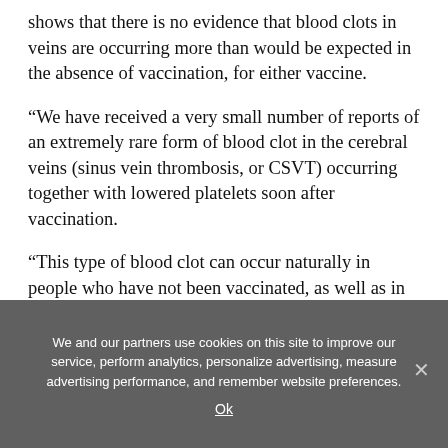shows that there is no evidence that blood clots in veins are occurring more than would be expected in the absence of vaccination, for either vaccine.
“We have received a very small number of reports of an extremely rare form of blood clot in the cerebral veins (sinus vein thrombosis, or CSVT) occurring together with lowered platelets soon after vaccination.
“This type of blood clot can occur naturally in people who have not been vaccinated, as well as in those suffering from COVID-19.”
We and our partners use cookies on this site to improve our service, perform analytics, personalize advertising, measure advertising performance, and remember website preferences.
Ok